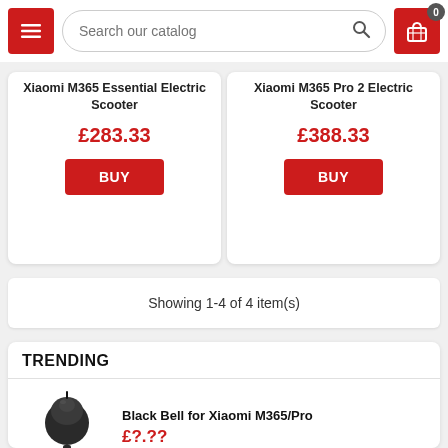[Figure (screenshot): E-commerce website header with hamburger menu button (red), search bar with placeholder 'Search our catalog', and shopping cart icon (red) with badge showing 0]
Xiaomi M365 Essential Electric Scooter
£283.33
BUY
Xiaomi M365 Pro 2 Electric Scooter
£388.33
BUY
Showing 1-4 of 4 item(s)
TRENDING
Black Bell for Xiaomi M365/Pro